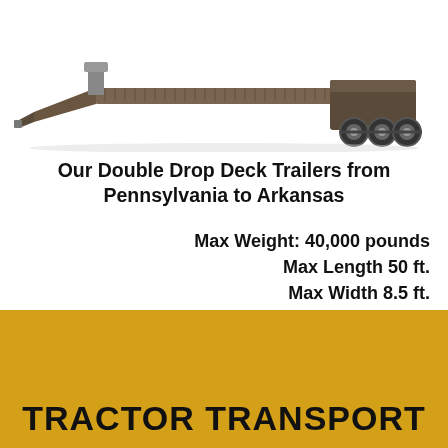[Figure (photo): Side-view photo of a double drop deck trailer (lowboy trailer) with dual rear axle wheels, showing the characteristic two-drop profile against a white background.]
Our Double Drop Deck Trailers from Pennsylvania to Arkansas
Max Weight: 40,000 pounds
Max Length 50 ft.
Max Width 8.5 ft.
Max Height 11.5 ft.
TRACTOR TRANSPORT